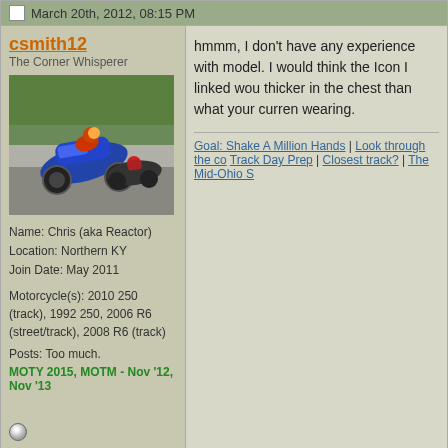March 20th, 2012, 08:15 PM
csmith12
The Corner Whisperer
[Figure (photo): Motorcycle racing photo showing blue sport bike leaning into a corner on a race track, with another rider following behind]
Name: Chris (aka Reactor)
Location: Northern KY
Join Date: May 2011

Motorcycle(s): 2010 250 (track), 1992 250, 2006 R6 (street/track), 2008 R6 (track)

Posts: Too much.
MOTY 2015, MOTM - Nov '12, Nov '13
hmmm, I don't have any experience with model. I would think the Icon I linked wou thicker in the chest than what your curren wearing.
Goal: Shake A Million Hands | Look through the co Track Day Prep | Closest track? | The Mid-Ohio S
March 28th, 2012, 10:49 AM #5
nealt
Quote: